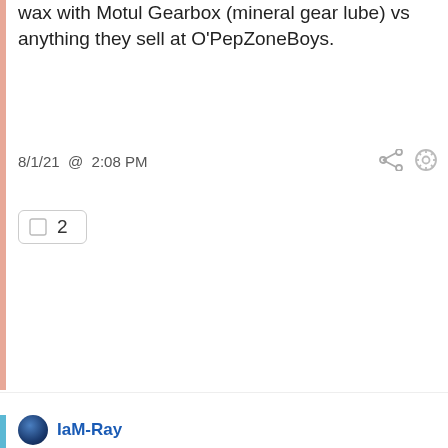wax with Motul Gearbox (mineral gear lube) vs anything they sell at O'PepZoneBoys.
8/1/21 @ 2:08 PM
2
IaM-Ray
Good for you for finding those issues before it was too late.

I have a routine, now, to check all the bolts of the undercarriage yearly. Why? Because I found things loose and a missing bolt once on a rear shock where the shock was floating around. Suffice it to say, now, I make sure the whole underneath is checked. 🙂 DDrivers you never think about that but these cars, well you need to do it.